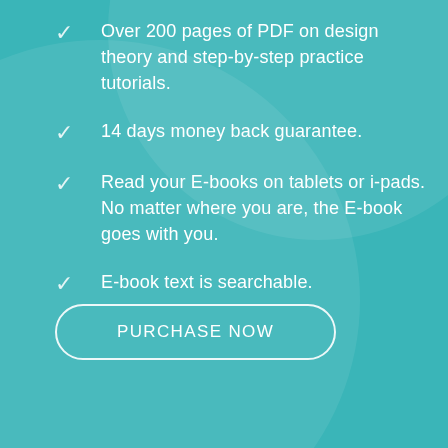Over 200 pages of PDF on design theory and step-by-step practice tutorials.
14 days money back guarantee.
Read your E-books on tablets or i-pads. No matter where you are, the E-book goes with you.
E-book text is searchable.
PURCHASE NOW